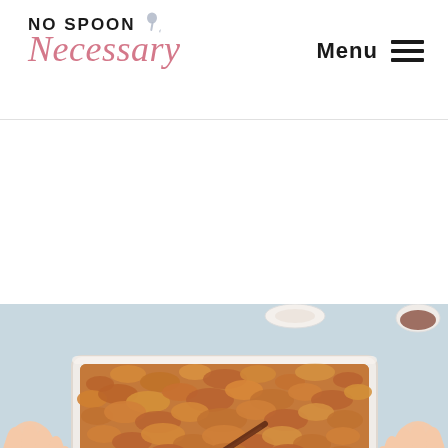No Spoon Necessary — Menu
[Figure (photo): Overhead photo of a rectangular baking dish filled with a golden-brown crumble/oat bake with a cinnamon stick on top, held by two hands on a light blue surface. A small bowl appears in the top right corner. Below the baking dish is a reflection/shadow on the surface.]